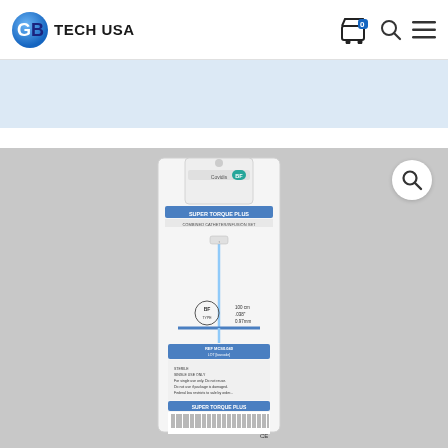[Figure (logo): GB Tech USA logo with blue globe icon and text 'TECH USA']
[Figure (photo): Medical catheter product (Super Torque Plus) in sealed sterile packaging, shown in its retail/sterile bag with barcodes and labeling visible. The package shows a Covidien/BF branded urinary catheter.]